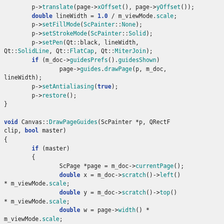[Figure (screenshot): Source code snippet in C++ showing DrawPageGuides function implementation with syntax highlighting. Code includes p->translate, lineWidth setup, setFillMode, setStrokeMode, setPen, guide drawing, setAntialiasing, restore calls, followed by void Canvas::DrawPageGuides function definition with if(master) block containing ScPage, double x, double y, double w variable declarations.]